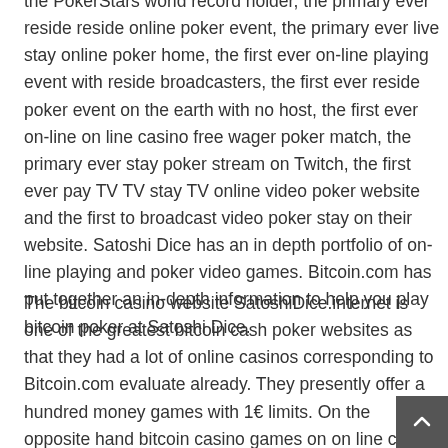the PokerStars world record holder, the primary ever reside reside online poker event, the primary ever live stay online poker home, the first ever on-line playing event with reside broadcasters, the first ever reside poker event on the earth with no host, the first ever on-line on line casino free wager poker match, the primary ever stay poker stream on Twitch, the first ever pay TV TV stay TV online video poker website and the first to broadcast video poker stay on their website. Satoshi Dice has an in depth portfolio of on-line playing and poker video games. Bitcoin.com has put together an in-depth information to help you play bitcoin poker at Satoshi Dice.
The bitcoin casino website SatoshiDice.internet is one of the greatest bitcoin cash poker websites as that they had a lot of online casinos corresponding to Bitcoin.com evaluate already. They presently offer a hundred money games with 1€ limits. On the opposite hand bitcoin casino games on on line casino slot or casino slots video games often provide lower limits or no limits.